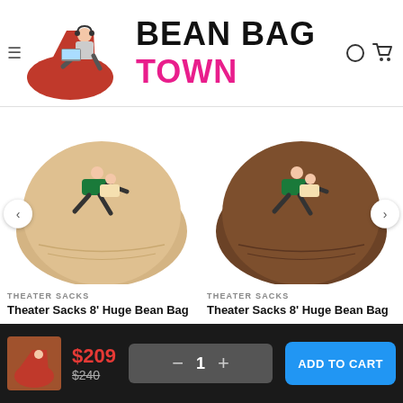[Figure (logo): Bean Bag Town website header with logo: red bean bag chair with person using laptop, text BEAN BAG BLACK and TOWN in pink, menu icon and cart icon]
[Figure (photo): Tan/beige large round bean bag with a couple lying on it, theater sack style]
THEATER SACKS
Theater Sacks 8' Huge Bean Bag
[Figure (photo): Brown large round bean bag with a couple lying on it, theater sack style]
THEATER SACKS
Theater Sacks 8' Huge Bean Bag
[Figure (photo): Small thumbnail of person on red bean bag chair]
$209
$240
1
ADD TO CART